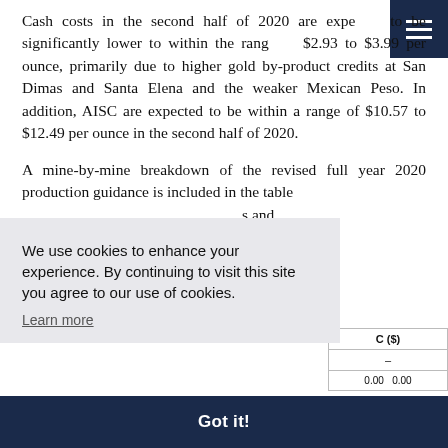Cash costs in the second half of 2020 are expected to be significantly lower to within the range of $2.93 to $3.99 per ounce, primarily due to higher gold by-product credits at San Dimas and Santa Elena and the weaker Mexican Peso. In addition, AISC are expected to be within a range of $10.57 to $12.49 per ounce in the second half of 2020.
A mine-by-mine breakdown of the revised full year 2020 production guidance is included in the table below. All figures are in thousands of ounces and have been stated on the same basis as previously.
[Figure (other): Cookie consent banner overlay reading: We use cookies to enhance your experience. By continuing to visit this site you agree to our use of cookies. Learn more]
| C ($) |
| --- |
| – |
| 0.00 | 0.00 |
[Figure (other): Dark navy 'Got it!' button bar at bottom of page for cookie consent dismissal]